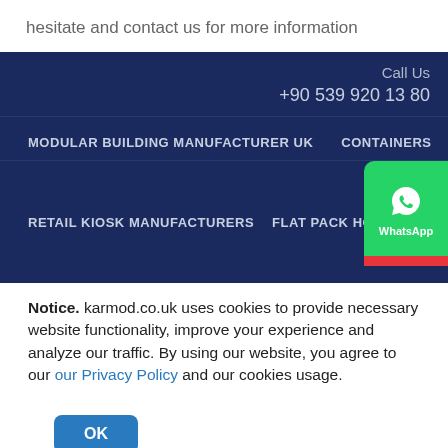hesitate and contact us for more information
Call Us
+90 539 920 13 80
MODULAR BUILDING MANUFACTURER UK   CONTAINERS
RETAIL KIOSK MANUFACTURERS   FLAT PACK HOMES
[Figure (logo): WhatsApp button icon in green with WhatsApp logo and label]
Notice. karmod.co.uk uses cookies to provide necessary website functionality, improve your experience and analyze our traffic. By using our website, you agree to our our Privacy Policy and our cookies usage.
OK